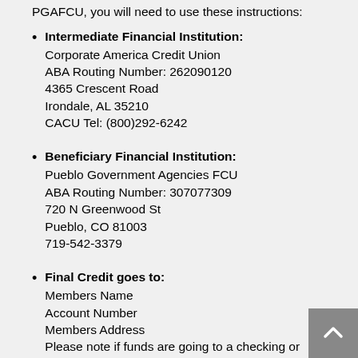PGAFCU, you will need to use these instructions:
Intermediate Financial Institution: Corporate America Credit Union ABA Routing Number: 262090120 4365 Crescent Road Irondale, AL 35210 CACU Tel: (800)292-6242
Beneficiary Financial Institution: Pueblo Government Agencies FCU ABA Routing Number: 307077309 720 N Greenwood St Pueblo, CO 81003 719-542-3379
Final Credit goes to: Members Name Account Number Members Address Please note if funds are going to a checking or